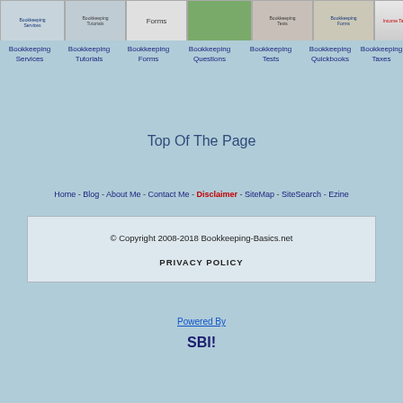[Figure (screenshot): Row of navigation thumbnail images for bookkeeping website sections: Bookkeeping Services, Bookkeeping Tutorials, Bookkeeping Forms, Bookkeeping (green field), Bookkeeping Tests, Bookkeeping Quickbooks, Bookkeeping Taxes]
Bookkeeping Services  Bookkeeping Tutorials  Bookkeeping Forms  Bookkeeping  Bookkeeping Tests  Bookkeeping Quickbooks  Bookkeeping Taxes  Bookkeeping Questions
Top Of The Page
Home - Blog - About Me - Contact Me - Disclaimer - SiteMap - SiteSearch - Ezine
© Copyright 2008-2018 Bookkeeping-Basics.net
PRIVACY POLICY
Powered By
SBI!